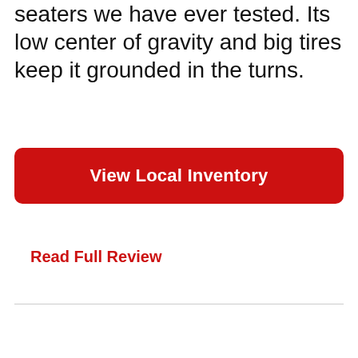seaters we have ever tested. Its low center of gravity and big tires keep it grounded in the turns.
View Local Inventory
Read Full Review